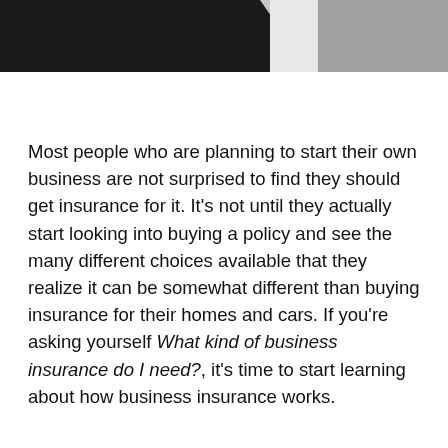[Figure (photo): Black and white photo strip at the top showing a person in dark clothing on the left and a lighter background area on the right.]
Most people who are planning to start their own business are not surprised to find they should get insurance for it. It's not until they actually start looking into buying a policy and see the many different choices available that they realize it can be somewhat different than buying insurance for their homes and cars. If you're asking yourself What kind of business insurance do I need?, it's time to start learning about how business insurance works.